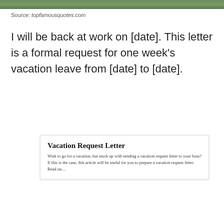[Figure (photo): Top strip showing a nature/outdoor photo (green foliage)]
Source: topfamousquotes.com
I will be back at work on [date]. This letter is a formal request for one week’s vacation leave from [date] to [date].
Vacation Request Letter
Wish to go for a vacation, but stuck up with sending a vacation request letter to your boss? If this is the case, this article will be useful for you to prepare a vacation request letter. Read on....